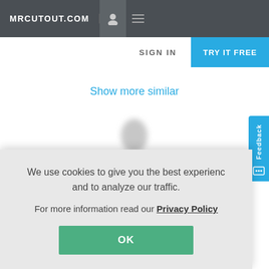MRCUTOUT.COM
SIGN IN
TRY IT FREE
Show more similar
Feedback
We use cookies to give you the best experience and to analyze our traffic.

For more information read our Privacy Policy
OK